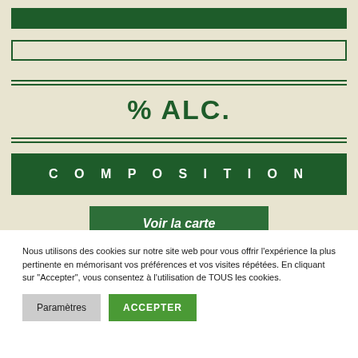[Figure (screenshot): Green navigation bar at top of webpage]
[Figure (screenshot): Search input box with green border]
% ALC.
COMPOSITION
Voir la carte
Nous utilisons des cookies sur notre site web pour vous offrir l'expérience la plus pertinente en mémorisant vos préférences et vos visites répétées. En cliquant sur "Accepter", vous consentez à l'utilisation de TOUS les cookies.
Paramètres
ACCEPTER